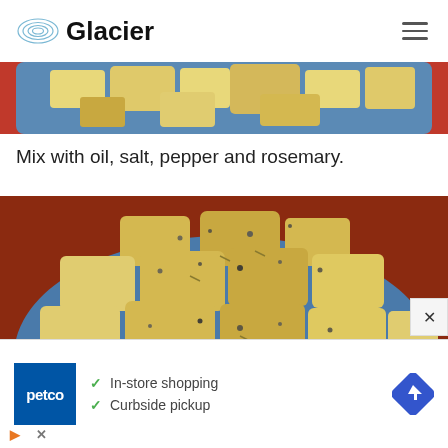Glacier
[Figure (photo): Partial view of cut potato pieces in a blue bowl, cropped at top of frame]
Mix with oil, salt, pepper and rosemary.
[Figure (photo): Cut potato pieces seasoned with oil, salt, pepper and rosemary in a blue bowl]
[Figure (other): Petco advertisement banner showing In-store shopping and Curbside pickup options with a navigation/directions icon]